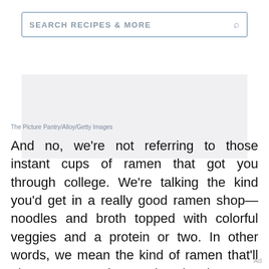SEARCH RECIPES & MORE
[Figure (photo): Light grey placeholder image area for a food photo]
The Picture Pantry/Alloy/Getty Images
And no, we're not referring to those instant cups of ramen that got you through college. We're talking the kind you'd get in a really good ramen shop—noodles and broth topped with colorful veggies and a protein or two. In other words, we mean the kind of ramen that'll give your co-workers serious lunch envy.
Ad